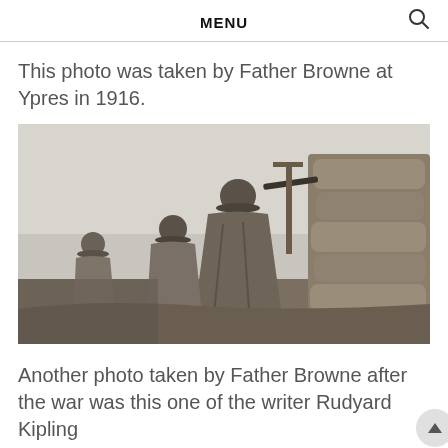MENU
This photo was taken by Father Browne at Ypres in 1916.
[Figure (photo): Black and white historical photograph of WWI soldiers in a trench at Ypres, 1916. Soldiers in overcoats and helmets are manning a position reinforced with sandbags. One soldier appears to be aiming a rifle or looking through a periscope over the parapet.]
Another photo taken by Father Browne after the war was this one of the writer Rudyard Kipling